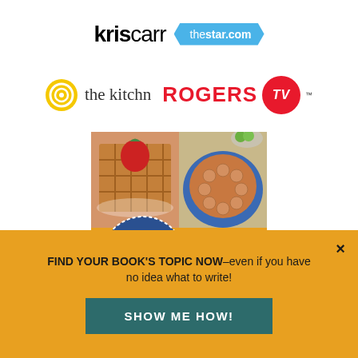[Figure (logo): Kris Carr logo and thestar.com hexagon badge logo, side by side]
[Figure (logo): the kitchn circular logo (yellow concentric circles) and ROGERS TV red logo]
[Figure (photo): Book cover for 'Good Morning! Breakfasts Without Gluten, Sugar, Eggs or Dairy (2nd Edition)' by Ricki Heller, PhD, RHN. Shows waffle with strawberry and a pie/tart on a blue plate.]
FIND YOUR BOOK'S TOPIC NOW–even if you have no idea what to write!
SHOW ME HOW!